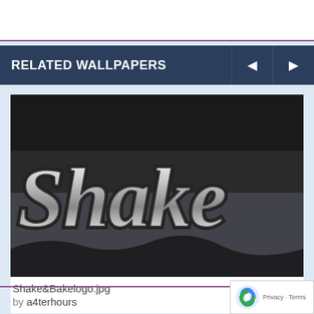RELATED WALLPAPERS
[Figure (photo): Gothic/graffiti style 3D text reading 'Shake' in chrome/silver letters on dark background]
Shake&Bakelogo.jpg
by a4terhours